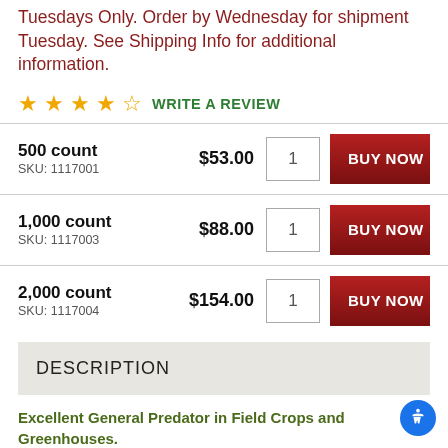Tuesdays Only. Order by Wednesday for shipment Tuesday. See Shipping Info for additional information.
★★★★½ WRITE A REVIEW
| Product | Price | Qty | Action |
| --- | --- | --- | --- |
| 500 count
SKU: 1117001 | $53.00 | 1 | BUY NOW |
| 1,000 count
SKU: 1117003 | $88.00 | 1 | BUY NOW |
| 2,000 count
SKU: 1117004 | $154.00 | 1 | BUY NOW |
DESCRIPTION
Excellent General Predator in Field Crops and Greenhouses.